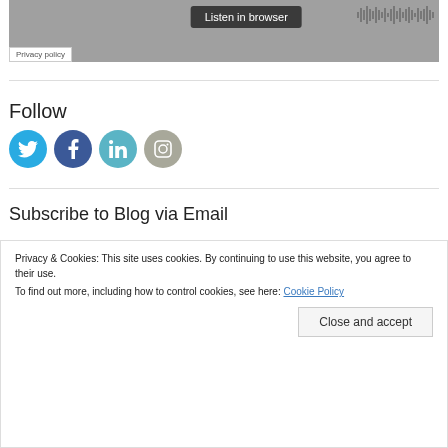[Figure (screenshot): Audio player with 'Listen in browser' button and waveform graphic on grey background, with Privacy policy button overlay]
Privacy policy
Follow
[Figure (infographic): Four social media icon circles: Twitter (blue), Facebook (dark blue), LinkedIn (teal), Instagram (grey-green)]
Subscribe to Blog via Email
Privacy & Cookies: This site uses cookies. By continuing to use this website, you agree to their use.
To find out more, including how to control cookies, see here: Cookie Policy
Close and accept